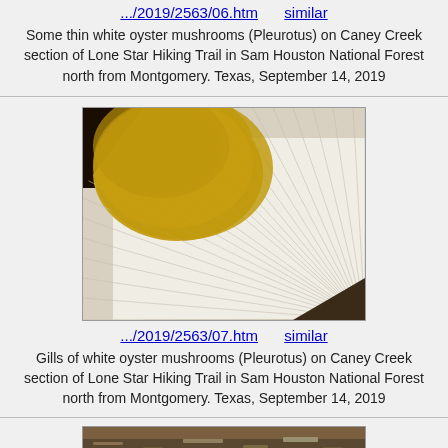.../2019/2563/06.htm   similar
Some thin white oyster mushrooms (Pleurotus) on Caney Creek section of Lone Star Hiking Trail in Sam Houston National Forest north from Montgomery. Texas, September 14, 2019
[Figure (photo): Close-up photograph of gills of white oyster mushrooms (Pleurotus), showing radiating pale gills with a golden-yellow center, photographed from below]
.../2019/2563/07.htm   similar
Gills of white oyster mushrooms (Pleurotus) on Caney Creek section of Lone Star Hiking Trail in Sam Houston National Forest north from Montgomery. Texas, September 14, 2019
[Figure (photo): Partial view of another mushroom photo, showing the bottom portion cut off, appears to show ground/forest floor]